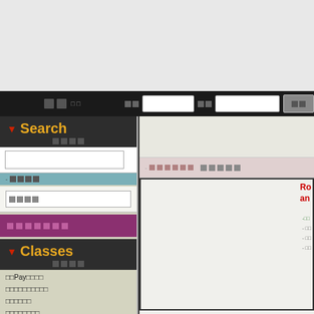[Figure (screenshot): Screenshot of a library or medical database web interface showing a Search panel on the left sidebar with input field and Classes section below it, and a main content area on the right showing a book entry for Rosen's Emergency Medicine: Concepts and Clinical Practice with navigation elements and tabs]
Search
Classes
??Pay????
??????????
??????
????????
?????????
?????
????
Rosen's Emergency Medicine: Concepts and Clinical Practice by Ron Walls MD (Author), Robert Hockberger MD (Author), ...